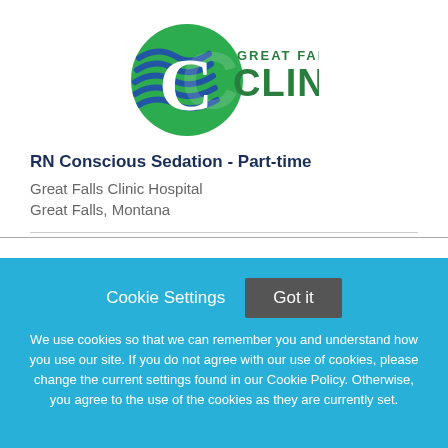[Figure (logo): Great Falls Clinic logo: green circle with blue wave lines on left, 'GREAT FALLS CLINIC' text in green on right]
RN Conscious Sedation - Part-time
Great Falls Clinic Hospital
Great Falls, Montana
Cookie Settings  Got it
We use cookies so that we can remember you and understand how you use our site. If you do not agree with our use of cookies, please change the current settings found in our Cookie Policy. Otherwise, you agree to the use of the cookies as they are currently set.